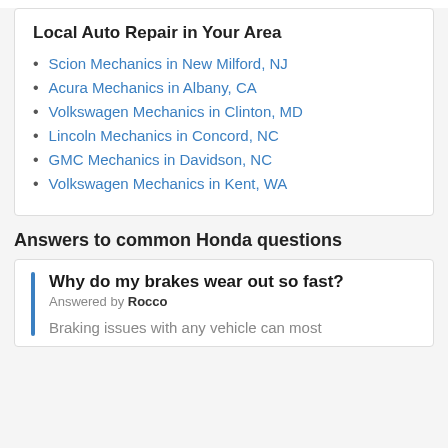Local Auto Repair in Your Area
Scion Mechanics in New Milford, NJ
Acura Mechanics in Albany, CA
Volkswagen Mechanics in Clinton, MD
Lincoln Mechanics in Concord, NC
GMC Mechanics in Davidson, NC
Volkswagen Mechanics in Kent, WA
Answers to common Honda questions
Why do my brakes wear out so fast?
Answered by Rocco
Braking issues with any vehicle can most